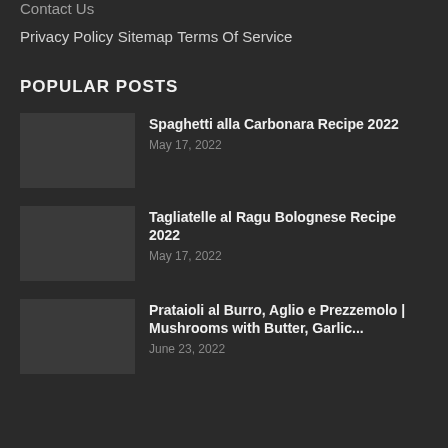Privacy Policy
Sitemap
Terms Of Service
POPULAR POSTS
Spaghetti alla Carbonara Recipe 2022
May 17, 2022
Tagliatelle al Ragu Bolognese Recipe 2022
May 17, 2022
Prataioli al Burro, Aglio e Prezzemolo | Mushrooms with Butter, Garlic...
June 23, 2022